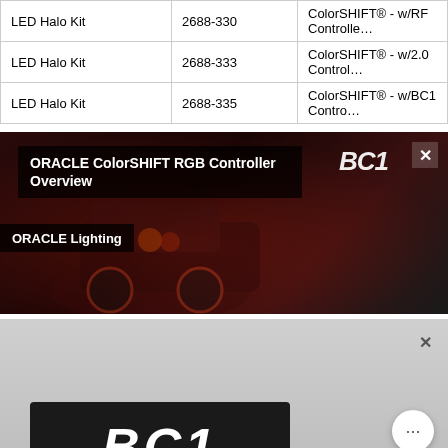|  |  |  |
| --- | --- | --- |
| LED Halo Kit | 2688-330 | ColorSHIFT® - w/RF Controlle… |
| LED Halo Kit | 2688-333 | ColorSHIFT® - w/2.0 Control… |
| LED Halo Kit | 2688-335 | ColorSHIFT® - w/BC1 Contro… |
[Figure (screenshot): Video thumbnail for ORACLE ColorSHIFT RGB Controller Overview by ORACLE Lighting, showing a red off-road vehicle with glowing orange halos, BC1 controller badge top right, close button.]
[Figure (photo): Product image showing a black box with large 'BC1' text in white, ORACLE branded, with a chat button overlay and close button.]